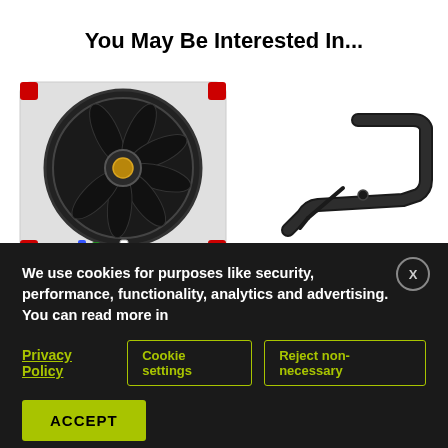You May Be Interested In...
[Figure (photo): A computer case fan with red accent corners and colorful cable connectors (blue, green, yellow), black blades, and a gold center screw.]
[Figure (photo): A black metal bracket/handle accessory with a small hex key wrench and a set screw.]
We use cookies for purposes like security, performance, functionality, analytics and advertising. You can read more in
Privacy Policy
Cookie settings
Reject non-necessary
ACCEPT